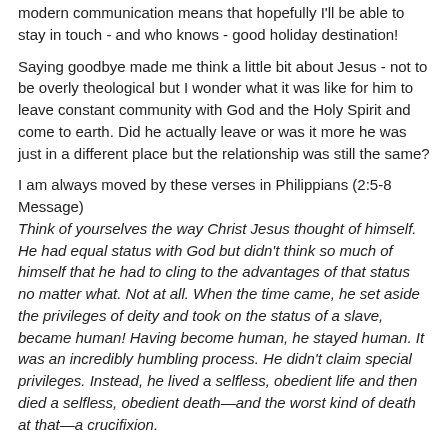modern communication means that hopefully I'll be able to stay in touch - and who knows - good holiday destination!
Saying goodbye made me think a little bit about Jesus - not to be overly theological but I wonder what it was like for him to leave constant community with God and the Holy Spirit and come to earth. Did he actually leave or was it more he was just in a different place but the relationship was still the same?
I am always moved by these verses in Philippians (2:5-8 Message)
Think of yourselves the way Christ Jesus thought of himself. He had equal status with God but didn’t think so much of himself that he had to cling to the advantages of that status no matter what. Not at all. When the time came, he set aside the privileges of deity and took on the status of a slave, became human! Having become human, he stayed human. It was an incredibly humbling process. He didn’t claim special privileges. Instead, he lived a selfless, obedient life and then died a selfless, obedient death—and the worst kind of death at that—a crucifixion.